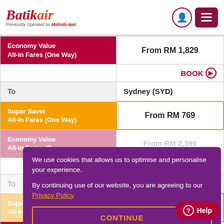Batik Air — Previously Operated as Malindo Air
| Fare Type | Price |
| --- | --- |
| Economy Value All-in Fares (One Way) | From RM 1,829 |
| BOOK → |  |
| To | Sydney (SYD) |
| Super Saver All-in Fares (One Way) | From RM 769 |
| Economy Value All-in Fares (One Way) | From RM 2,399 |
| BOOK → |  |
| To |  |
| Super Saver All-in Fares (One Way) |  |
| Economy Value All-in Fares (One Way) | From RM 1,469 |
We use cookies that allows us to optimise and personalise your experience. By continuing use of our website, you are agreeing to our Privacy Policy
CONTINUE